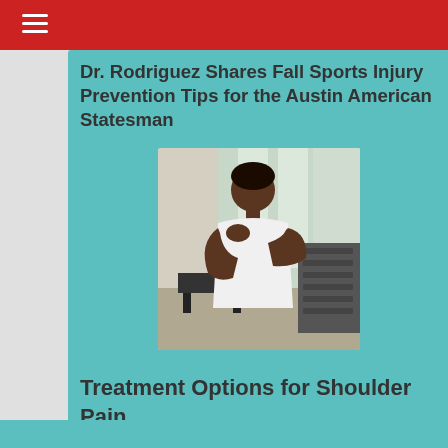Dr. Rodriguez Shares Fall Sports Injury Prevention Tips for the Austin American Statesman
[Figure (photo): A man in a white t-shirt holding his shoulder in pain in a gym setting with dumbbells in the background]
Treatment Options for Shoulder Pain